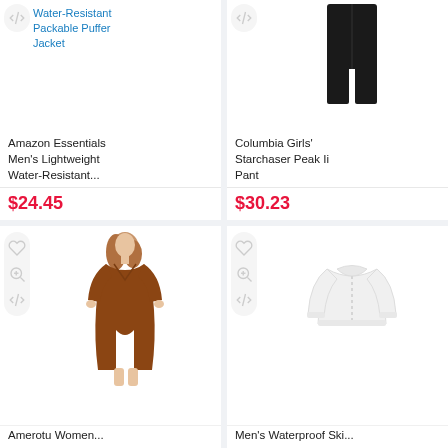Amazon Essentials Men's Lightweight Water-Resistant...
$24.45
Columbia Girls' Starchaser Peak Ii Pant
$30.23
[Figure (photo): Brown long-sleeve v-neck mini dress on a woman model]
Amerotu Women...
[Figure (photo): White waterproof ski jacket/top on white background]
Men's Waterproof Ski...